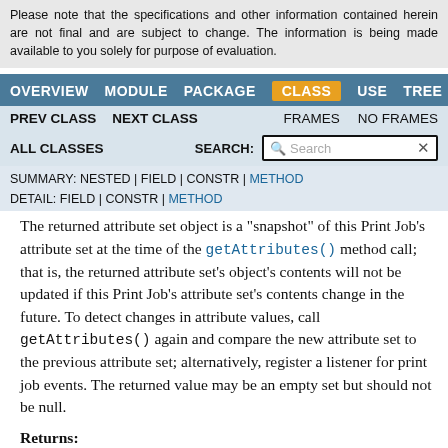Please note that the specifications and other information contained herein are not final and are subject to change. The information is being made available to you solely for purpose of evaluation.
OVERVIEW  MODULE  PACKAGE  CLASS  USE  TREE
PREV CLASS  NEXT CLASS  FRAMES  NO FRAMES
ALL CLASSES  SEARCH:
SUMMARY: NESTED | FIELD | CONSTR | METHOD
DETAIL: FIELD | CONSTR | METHOD
The returned attribute set object is a "snapshot" of this Print Job's attribute set at the time of the getAttributes() method call; that is, the returned attribute set's object's contents will not be updated if this Print Job's attribute set's contents change in the future. To detect changes in attribute values, call getAttributes() again and compare the new attribute set to the previous attribute set; alternatively, register a listener for print job events. The returned value may be an empty set but should not be null.
Returns:
the print job attributes